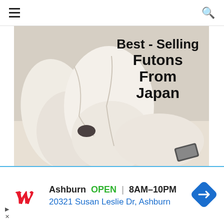Navigation header with hamburger menu and search icon
[Figure (photo): A person wrapped in large white fluffy futon/bedding pillows on a bed, with text overlay reading 'Best-Selling Futons From Japan']
How Choose The Right Japanese Futons? | 9 Japanese Futons
[Figure (infographic): Advertisement banner for Walgreens: Ashburn OPEN 8AM-10PM, 20321 Susan Leslie Dr, Ashburn, with Walgreens W logo and navigation arrow icon]